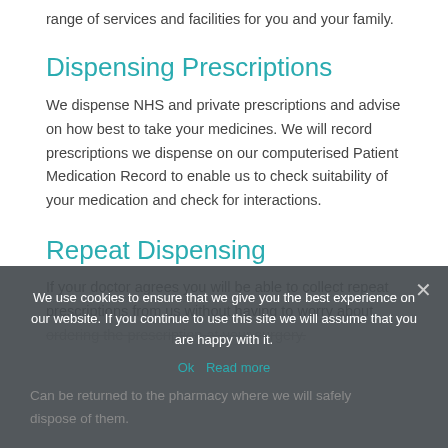range of services and facilities for you and your family.
Dispensing Prescriptions
We dispense NHS and private prescriptions and advise on how best to take your medicines. We will record prescriptions we dispense on our computerised Patient Medication Record to enable us to check suitability of your medication and check for interactions.
Repeat Dispensing
If your doctor agrees you will be able to collect repeat prescriptions from us without having to worry about ordering the prescription at your surgery.
Can be returned to the pharmacy where we will safely dispose of them.
We use cookies to ensure that we give you the best experience on our website. If you continue to use this site we will assume that you are happy with it.